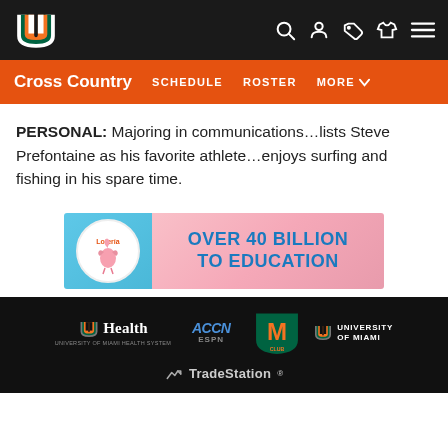University of Miami Athletics - Cross Country
Cross Country  SCHEDULE  ROSTER  MORE
PERSONAL: Majoring in communications…lists Steve Prefontaine as his favorite athlete…enjoys surfing and fishing in his spare time.
[Figure (other): Florida Lottery advertisement banner: round flamingo logo on left with light blue background, transitioning to pink on the right with bold text 'OVER 40 BILLION TO EDUCATION']
UHealth University of Miami Health System | ACCN ESPN | M Club | University of Miami | TradeStation